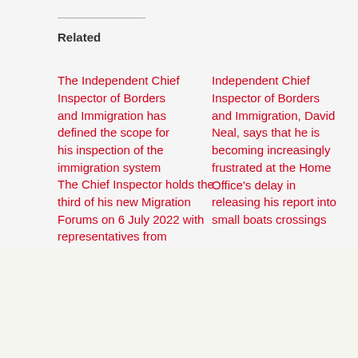Related
The Independent Chief Inspector of Borders and Immigration has defined the scope for his inspection of the immigration system
Independent Chief Inspector of Borders and Immigration, David Neal, says that he is becoming increasingly frustrated at the Home Office's delay in releasing his report into small boats crossings
The Chief Inspector holds the third of his new Migration Forums on 6 July 2022 with representatives from